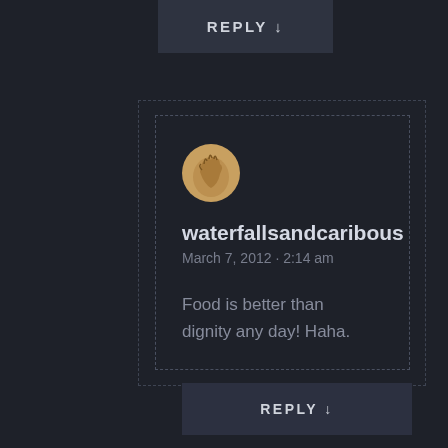REPLY ↓
[Figure (illustration): User avatar circle showing hands/silhouette illustration with warm tan/gold color]
waterfallsandcaribous
March 7, 2012 · 2:14 am
Food is better than dignity any day! Haha.
REPLY ↓